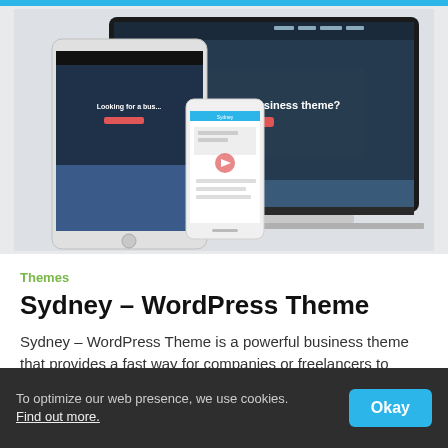[Figure (screenshot): Screenshot showing Sydney WordPress Theme on multiple devices: a laptop with a business theme website visible, alongside a tablet and smartphone showing responsive versions of the same site. The website displays 'Looking for a business theme?' text on a dark overlay.]
Themes
Sydney – WordPress Theme
Sydney – WordPress Theme is a powerful business theme that provides a fast way for companies or freelancers to create ..
To optimize our web presence, we use cookies. Find out more.